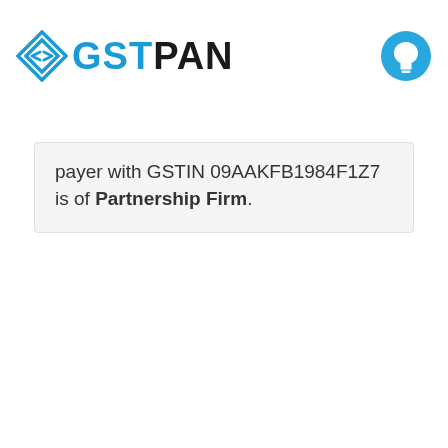GSTPAN
payer with GSTIN 09AAKFB1984F1Z7 is of Partnership Firm.